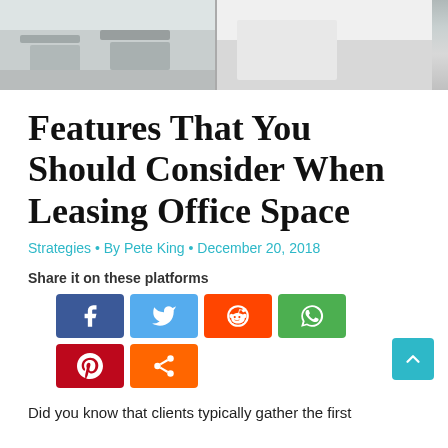[Figure (photo): Office interior photo showing chairs and white walls, split into two panels]
Features That You Should Consider When Leasing Office Space
Strategies • By Pete King • December 20, 2018
Share it on these platforms
[Figure (infographic): Social media share buttons: Facebook, Twitter, Reddit, WhatsApp, Pinterest, Share]
Did you know that clients typically gather the first